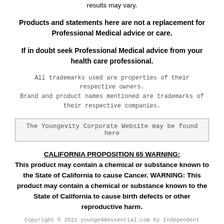results may vary.
Products and statements here are not a replacement for Professional Medical advice or care.
If in doubt seek Professional Medical advice from your health care professional.
All trademarks used are properties of their respective owners.
Brand and product names mentioned are trademarks of their respective companies.
The Youngevity Corporate Website may be found here
CALIFORNIA PROPOSITION 65 WARNING: This product may contain a chemical or substance known to the State of California to cause Cancer. WARNING: This product may contain a chemical or substance known to the State of California to cause birth defects or other reproductive harm.
Copyright © 2022 younge90essential.com by Independent